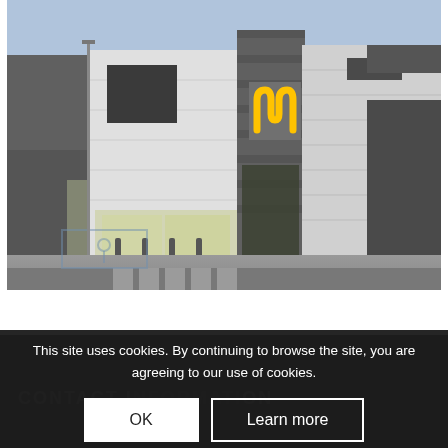[Figure (photo): Exterior photograph of a McDonald's restaurant building. Modern flat-roofed structure with white and dark grey cladding panels. The golden arches 'M' logo is visible on the building facade. The entrance has glass doors with bollards. A disabled parking space with blue markings is visible in the foreground, along with a zebra crossing.]
This site uses cookies. By continuing to browse the site, you are agreeing to our use of cookies.
OK
Learn more
CONTACT INFORMATION